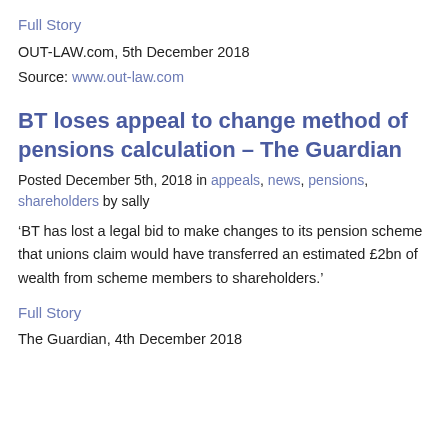Full Story
OUT-LAW.com, 5th December 2018
Source: www.out-law.com
BT loses appeal to change method of pensions calculation – The Guardian
Posted December 5th, 2018 in appeals, news, pensions, shareholders by sally
‘BT has lost a legal bid to make changes to its pension scheme that unions claim would have transferred an estimated £2bn of wealth from scheme members to shareholders.’
Full Story
The Guardian, 4th December 2018